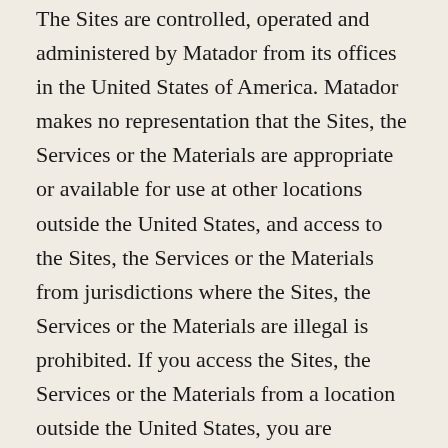The Sites are controlled, operated and administered by Matador from its offices in the United States of America. Matador makes no representation that the Sites, the Services or the Materials are appropriate or available for use at other locations outside the United States, and access to the Sites, the Services or the Materials from jurisdictions where the Sites, the Services or the Materials are illegal is prohibited. If you access the Sites, the Services or the Materials from a location outside the United States, you are responsible for compliance with all local laws.
15. Changes in Service.
Matador reserves the right to terminate free access to the Sites, including any or all Services or Materials, with or without notice to you. Matador